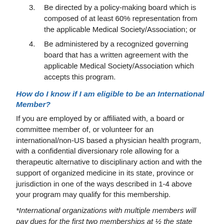3. Be directed by a policy-making board which is composed of at least 60% representation from the applicable Medical Society/Association; or
4. Be administered by a recognized governing board that has a written agreement with the applicable Medical Society/Association which accepts this program.
How do I know if I am eligible to be an International Member?
If you are employed by or affiliated with, a board or committee member of, or volunteer for an international/non-US based a physician health program, with a confidential diversionary role allowing for a therapeutic alternative to disciplinary action and with the support of organized medicine in its state, province or jurisdiction in one of the ways described in 1-4 above your program may qualify for this membership.
*International organizations with multiple members will pay dues for the first two memberships at ½ the state voting member price, and any additional memberships will then be priced the same as associate members. *$790 for first 2 members/$210 for additional members per organization.